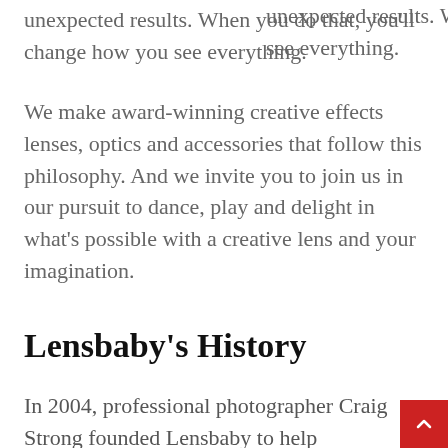unexpected results. When you do that, you'll change how you see everything.
We make award-winning creative effects lenses, optics and accessories that follow this philosophy. And we invite you to join us in our pursuit to dance, play and delight in what's possible with a creative lens and your imagination.
Lensbaby's History
In 2004, professional photographer Craig Strong founded Lensbaby to help photographers see in a new way–